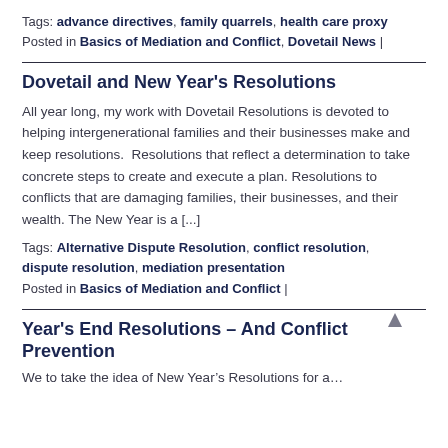Tags: advance directives, family quarrels, health care proxy
Posted in Basics of Mediation and Conflict, Dovetail News |
Dovetail and New Year's Resolutions
All year long, my work with Dovetail Resolutions is devoted to helping intergenerational families and their businesses make and keep resolutions.  Resolutions that reflect a determination to take concrete steps to create and execute a plan. Resolutions to conflicts that are damaging families, their businesses, and their wealth. The New Year is a [...]
Tags: Alternative Dispute Resolution, conflict resolution, dispute resolution, mediation presentation
Posted in Basics of Mediation and Conflict |
Year's End Resolutions – And Conflict Prevention
We to take the idea of New Year's Resolutions for a...